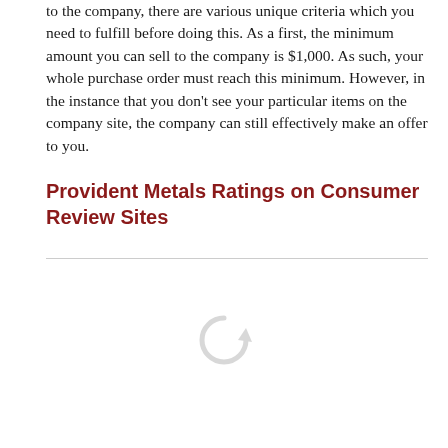to the company, there are various unique criteria which you need to fulfill before doing this. As a first, the minimum amount you can sell to the company is $1,000. As such, your whole purchase order must reach this minimum. However, in the instance that you don't see your particular items on the company site, the company can still effectively make an offer to you.
Provident Metals Ratings on Consumer Review Sites
[Figure (other): Loading spinner icon (circular arrow) indicating content is loading]